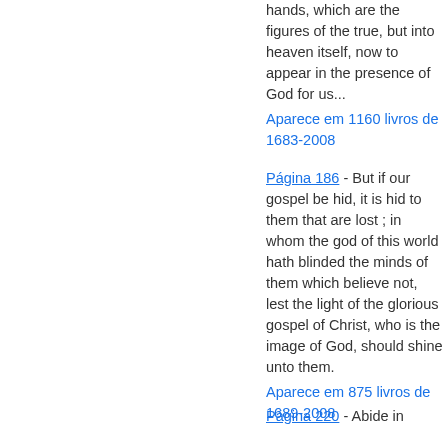hands, which are the figures of the true, but into heaven itself, now to appear in the presence of God for us...
Aparece em 1160 livros de 1683-2008
Página 186 - But if our gospel be hid, it is hid to them that are lost ; in whom the god of this world hath blinded the minds of them which believe not, lest the light of the glorious gospel of Christ, who is the image of God, should shine unto them.
Aparece em 875 livros de 1689-2008
Página 220 - Abide in